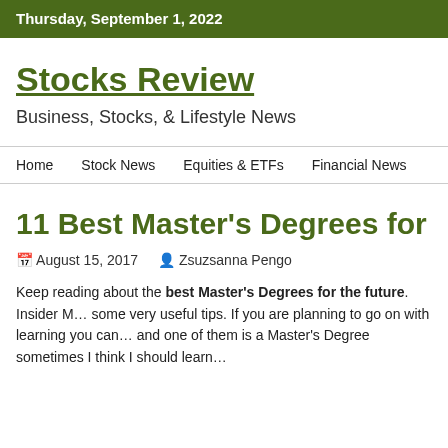Thursday, September 1, 2022
Stocks Review
Business, Stocks, & Lifestyle News
Home   Stock News   Equities & ETFs   Financial News
11 Best Master's Degrees for the Fu…
August 15, 2017   Zsuzsanna Pengo
Keep reading about the best Master's Degrees for the future. Insider M… some very useful tips. If you are planning to go on with learning you can… and one of them is a Master's Degree sometimes I think I should learn…